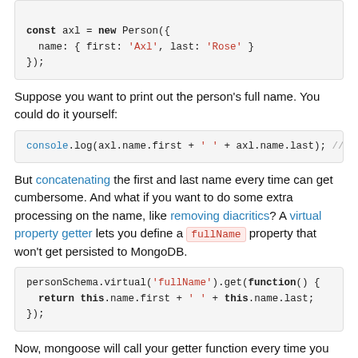[Figure (screenshot): Code block showing: const axl = new Person({ name: { first: 'Axl', last: 'Rose' } });]
Suppose you want to print out the person's full name. You could do it yourself:
[Figure (screenshot): Code block showing: console.log(axl.name.first + ' ' + axl.name.last); //]
But concatenating the first and last name every time can get cumbersome. And what if you want to do some extra processing on the name, like removing diacritics? A virtual property getter lets you define a fullName property that won't get persisted to MongoDB.
[Figure (screenshot): Code block showing: personSchema.virtual('fullName').get(function() { return this.name.first + ' ' + this.name.last; });]
Now, mongoose will call your getter function every time you